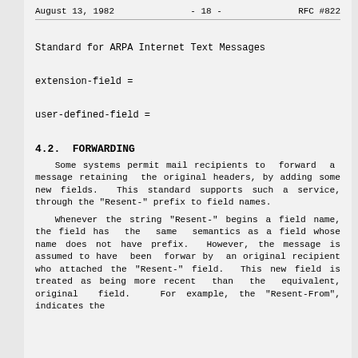August 13, 1982          - 18 -               RFC #822
Standard for ARPA Internet Text Messages
4.2.  FORWARDING
Some systems permit mail recipients to  forward  a  message retaining  the original headers, by adding some new fields.  This standard supports such a service, through the "Resent-" prefix to field names.
Whenever the string "Resent-" begins a field name, the field has  the  same  semantics as a field whose name does not have prefix.  However, the message is assumed to have  been  forward by  an original recipient who attached the "Resent-" field.  This new field is treated as being more recent  than  the  equivalent, original  field.   For example, the "Resent-From", indicates the